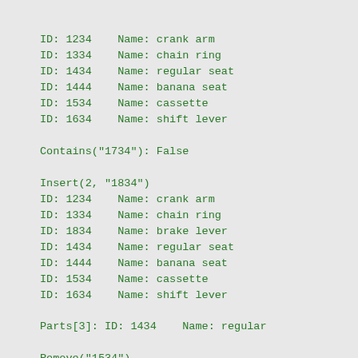ID: 1234    Name: crank arm
ID: 1334    Name: chain ring
ID: 1434    Name: regular seat
ID: 1444    Name: banana seat
ID: 1534    Name: cassette
ID: 1634    Name: shift lever
Contains("1734"): False
Insert(2, "1834")
ID: 1234    Name: crank arm
ID: 1334    Name: chain ring
ID: 1834    Name: brake lever
ID: 1434    Name: regular seat
ID: 1444    Name: banana seat
ID: 1534    Name: cassette
ID: 1634    Name: shift lever
Parts[3]: ID: 1434    Name: regular
Remove("1534")
ID: 1234    Name: crank arm